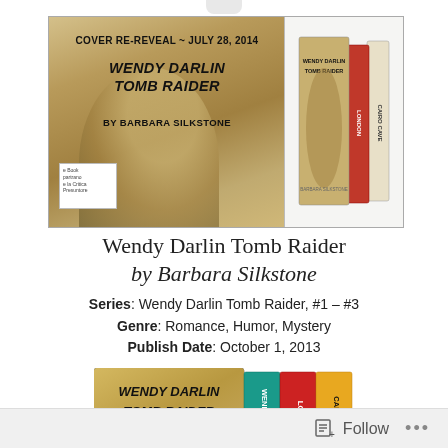[Figure (illustration): Book cover reveal banner: 'COVER RE-REVEAL ~ JULY 28, 2014 / WENDY DARLIN TOMB RAIDER / BY BARBARA SILKSTONE' on sandy background, with a small book stack image on the right showing the series box set.]
Wendy Darlin Tomb Raider
by Barbara Silkstone
Series: Wendy Darlin Tomb Raider, #1 – #3
Genre: Romance, Humor, Mystery
Publish Date: October 1, 2013
[Figure (photo): Box set of Wendy Darlin Tomb Raider books showing spines labeled: Wendy and T..., London, Cairo Ca...]
Follow  ...